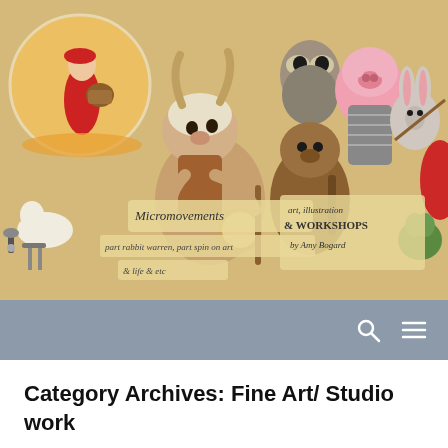[Figure (illustration): Colorful illustrated banner for 'Micromovements' website by Amy Bogard. Features whimsical animal characters playing musical instruments (pig, sheep/goat with banjo, rabbit with violin, green frog) and a small circular inset of a girl in a red dress carrying a basket. Text labels read: 'Micromovements', 'part rabbit warren, part spin on art', '& life & etc', 'art, illustration & WORKSHOPS by Amy Bogard'.]
[Figure (other): Navigation bar with gray/blue background containing a search icon (magnifying glass) and a hamburger menu icon on the right side.]
Category Archives: Fine Art/ Studio work